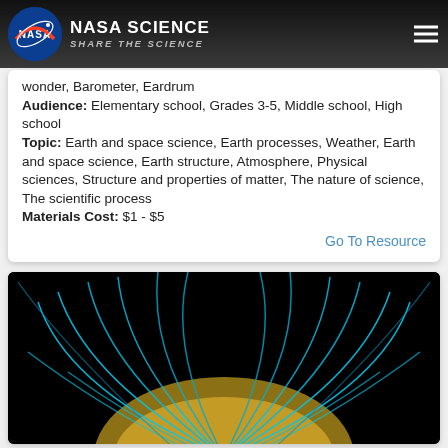NASA SCIENCE — SHARE THE SCIENCE
wonder, Barometer, Eardrum
Audience: Elementary school, Grades 3-5, Middle school, High school
Topic: Earth and space science, Earth processes, Weather, Earth and space science, Earth structure, Atmosphere, Physical sciences, Structure and properties of matter, The nature of science, The scientific process
Materials Cost: $1 - $5
Go To Resource
[Figure (illustration): Scientific illustration showing magnetic field lines around Earth in cyan/blue against a black background, with Earth's surface visible at the bottom.]